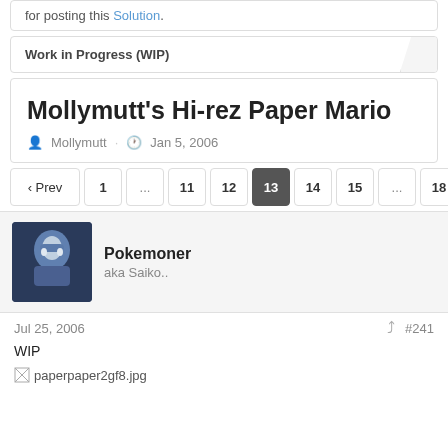for posting this Solution.
Work in Progress (WIP)
Mollymutt's Hi-rez Paper Mario
Mollymutt · Jan 5, 2006
‹ Prev  1  ...  11  12  13  14  15  ...  18  N
Pokemoner
aka Saiko..
Jul 25, 2006  #241
WIP
[Figure (photo): Broken image placeholder for paperpaper2gf8.jpg]